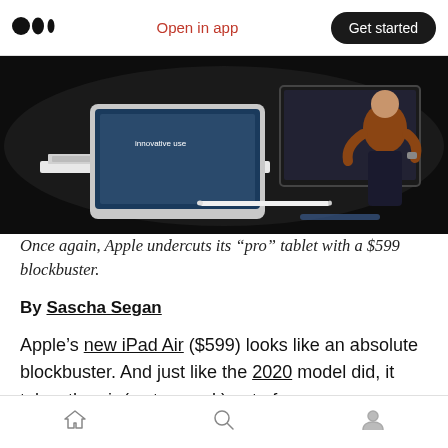Medium logo | Open in app | Get started
[Figure (photo): Apple event stage photo showing iPad Air with Magic Keyboard and Apple Pencil on a dark background, with a presenter standing to the right.]
Once again, Apple undercuts its “pro” tablet with a $599 blockbuster.
By Sascha Segan
Apple’s new iPad Air ($599) looks like an absolute blockbuster. And just like the 2020 model did, it takes the air (so to speak) out of
Home | Search | Profile